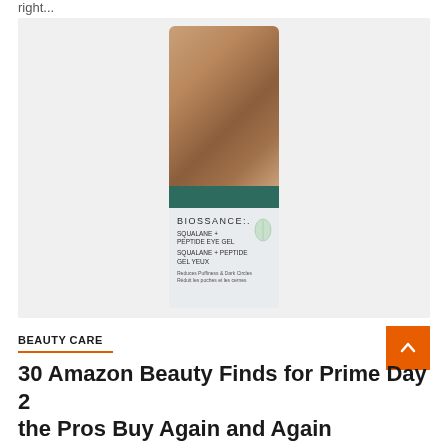right...
[Figure (photo): Biossance Squalane + Peptide Eye Gel product bottle with bronze/copper cap, dark teal band, and light grey body showing product name and description]
BEAUTY CARE
30 Amazon Beauty Finds for Prime Day 2 the Pros Buy Again and Again